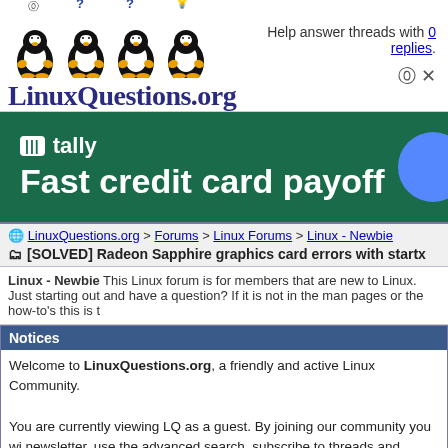[Figure (logo): LinuxQuestions.org logo with four Tux penguins and question marks/lightbulb above them, with site name below]
Help answer threads with 0 replies.
[Figure (infographic): Tally app advertisement banner: 'm tally / Fast credit card payoff' on dark green background with blue circle]
LinuxQuestions.org > Forums > Linux Forums > Linux - Newbie
[SOLVED] Radeon Sapphire graphics card errors with startx
Linux - Newbie This Linux forum is for members that are new to Linux. Just starting out and have a question? If it is not in the man pages or the how-to's this is t
Notices
Welcome to LinuxQuestions.org, a friendly and active Linux Community. You are currently viewing LQ as a guest. By joining our community you wi newsletter, use the advanced search, subscribe to threads and access ma simple and absolutely free. Join our community today!